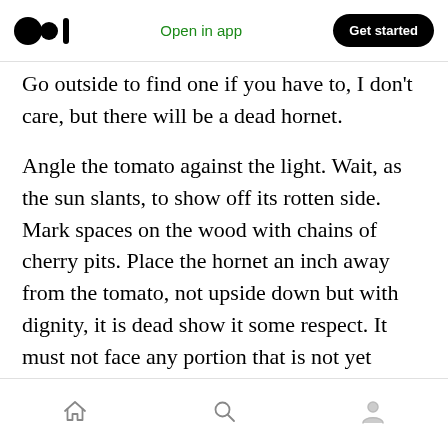Medium app navigation bar with logo, 'Open in app', and 'Get started' button
Go outside to find one if you have to, I don't care, but there will be a dead hornet.
Angle the tomato against the light. Wait, as the sun slants, to show off its rotten side. Mark spaces on the wood with chains of cherry pits. Place the hornet an inch away from the tomato, not upside down but with dignity, it is dead show it some respect. It must not face any portion that is not yet rotten. Watch the sun sink.
Now hear my story
Bottom navigation bar with home, search, and profile icons